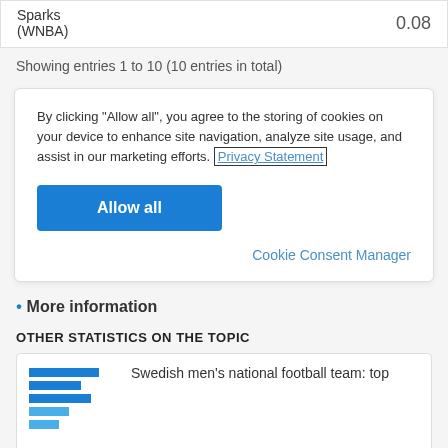| Team | Value |
| --- | --- |
| Sparks (WNBA) | 0.08 |
Showing entries 1 to 10 (10 entries in total)
By clicking “Allow all”, you agree to the storing of cookies on your device to enhance site navigation, analyze site usage, and assist in our marketing efforts. Privacy Statement
Allow all
Cookie Consent Manager
More information
OTHER STATISTICS ON THE TOPIC
[Figure (bar-chart): Small horizontal bar chart preview thumbnail]
Swedish men's national football team: top